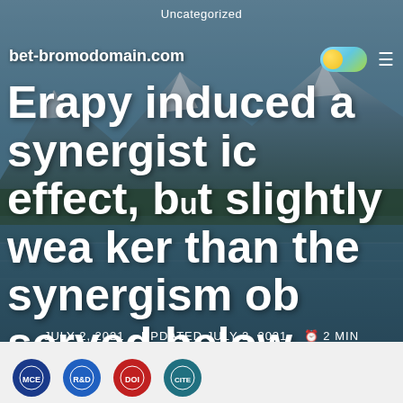Uncategorized
bet-bromodomain.com
Erapy induced a synergistic effect, but slightly weaker than the synergism observed below normoxic conditions
JULY 2, 2021   UPDATED JULY 2, 2021   2 MIN READ
> Uncategorized > Erapy induced a synergistic effect,